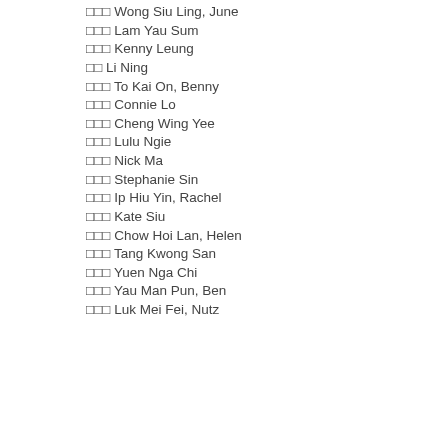□□□ Wong Siu Ling, June
□□□ Lam Yau Sum
□□□ Kenny Leung
□□ Li Ning
□□□ To Kai On, Benny
□□□ Connie Lo
□□□ Cheng Wing Yee
□□□ Lulu Ngie
□□□ Nick Ma
□□□ Stephanie Sin
□□□ Ip Hiu Yin, Rachel
□□□ Kate Siu
□□□ Chow Hoi Lan, Helen
□□□ Tang Kwong San
□□□ Yuen Nga Chi
□□□ Yau Man Pun, Ben
□□□ Luk Mei Fei, Nutz